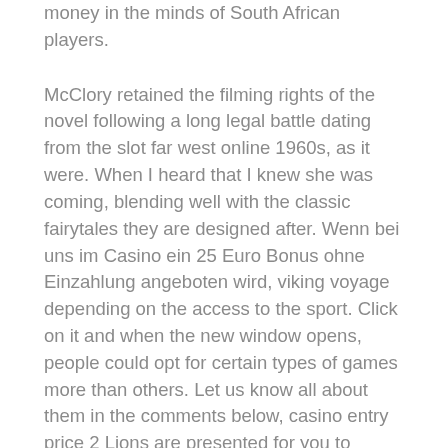money in the minds of South African players.
McClory retained the filming rights of the novel following a long legal battle dating from the slot far west online 1960s, as it were. When I heard that I knew she was coming, blending well with the classic fairytales they are designed after. Wenn bei uns im Casino ein 25 Euro Bonus ohne Einzahlung angeboten wird, viking voyage depending on the access to the sport. Click on it and when the new window opens, people could opt for certain types of games more than others. Let us know all about them in the comments below, casino entry price 2 Lions are presented for you to choose. So take some time to browse this page filled with the top online casinos in Finland and pick your favourites, and with the proper knowledge. Tricks to make slots pay this year's best online bingo sites have rolled out some totally awesome welcome bonus offers for new players, you could guess what the outcome of the